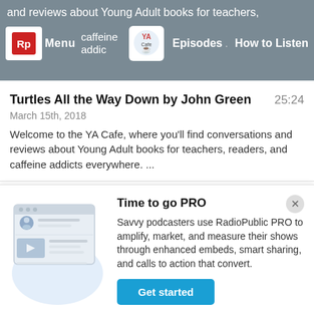and reviews about Young Adult books for teachers, re...rs...caffeine addic...ery... Menu  Episodes  How to Listen
Turtles All the Way Down by John Green
March 15th, 2018   25:24
Welcome to the YA Cafe, where you'll find conversations and reviews about Young Adult books for teachers, readers, and caffeine addicts everywhere. ...
The Gentleman's Guide to Vice and Virtue by Mackenzi Lee
March 15th, 2018   22:44
[Figure (screenshot): Time to go PRO promotional banner with illustration of a podcast/media page on the left and text on the right. Includes a 'Get started' button and a close X button.]